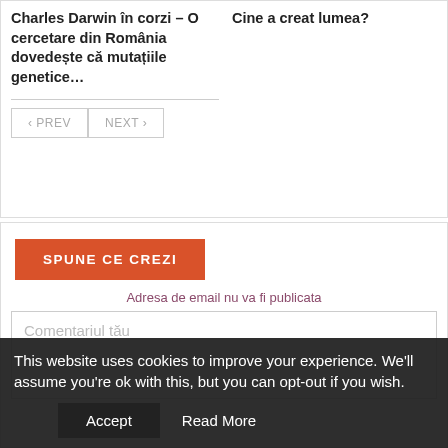Charles Darwin în corzi – O cercetare din România dovedește că mutațiile genetice…
Cine a creat lumea?
« PREV   NEXT »
SPUNE CE CREZI
Adresa de email nu va fi publicata
Comentariul tău
This website uses cookies to improve your experience. We'll assume you're ok with this, but you can opt-out if you wish.
Accept
Read More